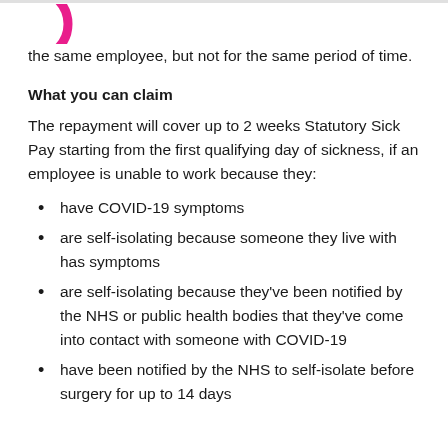[Figure (logo): Pink/magenta circular logo partially visible in top-left corner]
the same employee, but not for the same period of time.
What you can claim
The repayment will cover up to 2 weeks Statutory Sick Pay starting from the first qualifying day of sickness, if an employee is unable to work because they:
have COVID-19 symptoms
are self-isolating because someone they live with has symptoms
are self-isolating because they've been notified by the NHS or public health bodies that they've come into contact with someone with COVID-19
have been notified by the NHS to self-isolate before surgery for up to 14 days